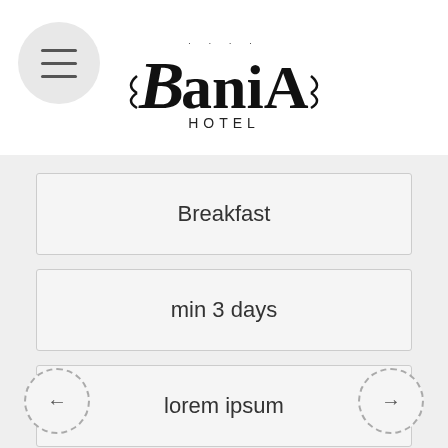[Figure (logo): BaniA Hotel logo with decorative lettering and four stars above, HOTEL text below]
Breakfast
min 3 days
lorem ipsum